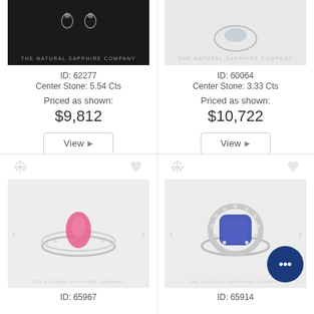[Figure (photo): Dark background photo of sapphire ring/earrings with The Natural Sapphire Company watermark]
ID: 62277
Center Stone: 5.54 Cts
Priced as shown:
$9,812
[Figure (photo): Light background photo of sapphire ring with The Natural Sapphire Company watermark]
ID: 60064
Center Stone: 3.33 Cts
Priced as shown:
$10,722
[Figure (photo): Pink sapphire pear-cut ring on light background with The Natural Sapphire Company watermark]
ID: 65967
[Figure (photo): Blue sapphire cushion-cut halo ring on light background with The Natural Sapphire Company watermark and chat bubble icon]
ID: 65914